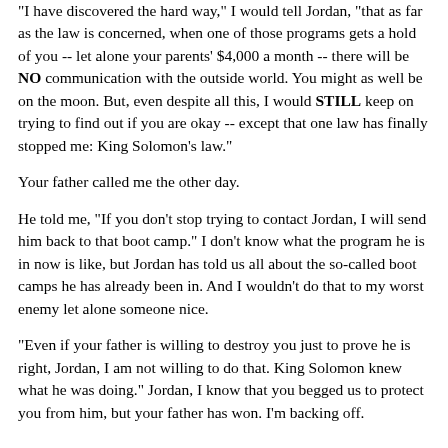"I have discovered the hard way," I would tell Jordan, "that as far as the law is concerned, when one of those programs gets a hold of you -- let alone your parents' $4,000 a month -- there will be NO communication with the outside world. You might as well be on the moon. But, even despite all this, I would STILL keep on trying to find out if you are okay -- except that one law has finally stopped me: King Solomon's law."
Your father called me the other day.
He told me, "If you don't stop trying to contact Jordan, I will send him back to that boot camp." I don't know what the program he is in now is like, but Jordan has told us all about the so-called boot camps he has already been in. And I wouldn't do that to my worst enemy let alone someone nice.
"Even if your father is willing to destroy you just to prove he is right, Jordan, I am not willing to do that. King Solomon knew what he was doing." Jordan, I know that you begged us to protect you from him, but your father has won. I'm backing off.